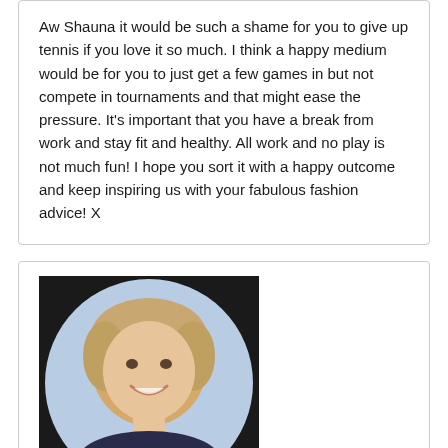Aw Shauna it would be such a shame for you to give up tennis if you love it so much. I think a happy medium would be for you to just get a few games in but not compete in tournaments and that might ease the pressure. It's important that you have a break from work and stay fit and healthy. All work and no play is not much fun! I hope you sort it with a happy outcome and keep inspiring us with your fabulous fashion advice! X
[Figure (photo): Circular avatar photo of Julie McGriff, a woman with short blonde hair, smiling, wearing dark clothing, on a light blue background.]
JULIE MCGRIFF SAYS:
January 21, 2019 at 5:01 pm
Oh wow, such a...